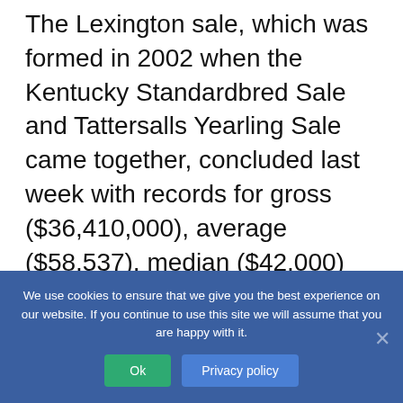The Lexington sale, which was formed in 2002 when the Kentucky Standardbred Sale and Tattersalls Yearling Sale came together, concluded last week with records for gross ($36,410,000), average ($58,537), median ($42,000) and number of yearlings that sold for $100,000 or more (103).
The London sale is the result of a similar partnership — this one between the Forest City Yearling Sale and Standardbred Canada's Canadian Yearling Sale.
We use cookies to ensure that we give you the best experience on our website. If you continue to use this site we will assume that you are happy with it.